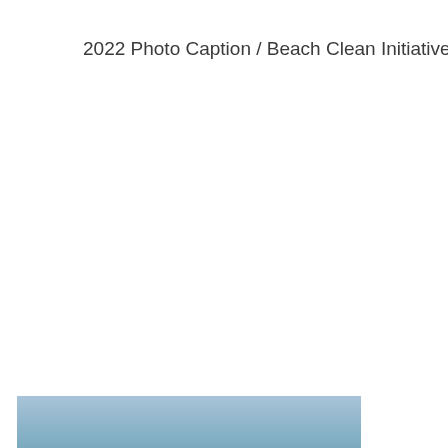2022 Photo Caption / Beach Clean Initiative
[Figure (photo): A photograph partially visible at the bottom of the page showing a blue sky or ocean scene, cropped at the page boundary.]